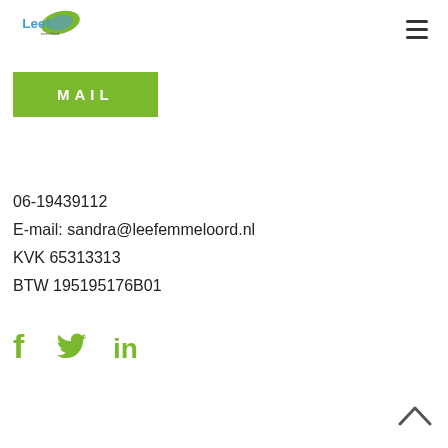[Figure (logo): Leef logo with green leaf shape and blue text]
MAIL
06-19439112
E-mail: sandra@leefemmeloord.nl
KVK 65313313
BTW 195195176B01
[Figure (illustration): Social media icons: Facebook (f), Twitter (bird), LinkedIn (in) in green]